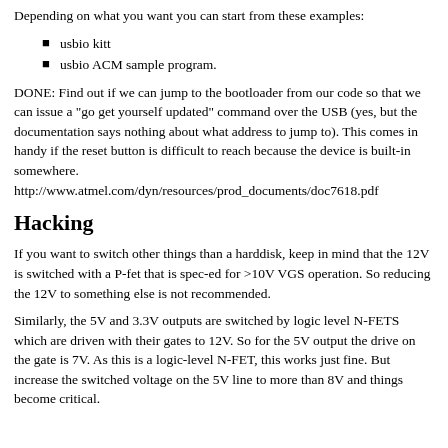Depending on what you want you can start from these examples:
usbio kitt
usbio ACM sample program.
DONE: Find out if we can jump to the bootloader from our code so that we can issue a "go get yourself updated" command over the USB (yes, but the documentation says nothing about what address to jump to). This comes in handy if the reset button is difficult to reach because the device is built-in somewhere. http://www.atmel.com/dyn/resources/prod_documents/doc7618.pdf
Hacking
If you want to switch other things than a harddisk, keep in mind that the 12V is switched with a P-fet that is spec-ed for >10V VGS operation. So reducing the 12V to something else is not recommended.
Similarly, the 5V and 3.3V outputs are switched by logic level N-FETS which are driven with their gates to 12V. So for the 5V output the drive on the gate is 7V. As this is a logic-level N-FET, this works just fine. But increase the switched voltage on the 5V line to more than 8V and things become critical.